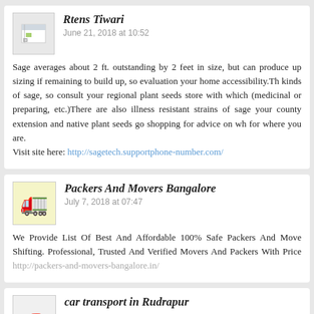Rtens Tiwari
June 21, 2018 at 10:52
Sage averages about 2 ft. outstanding by 2 feet in size, but can produce up sizing if remaining to build up, so evaluation your home accessibility.Th kinds of sage, so consult your regional plant seeds store with which (medicinal or preparing, etc.)There are also illness resistant strains of sage your county extension and native plant seeds go shopping for advice on wh for where you are.
Visit site here: http://sagetech.supportphone-number.com/
Packers And Movers Bangalore
July 7, 2018 at 07:47
We Provide List Of Best And Affordable 100% Safe Packers And Move Shifting. Professional, Trusted And Verified Movers And Packers With Price http://packers-and-movers-bangalore.in/
car transport in Rudrapur